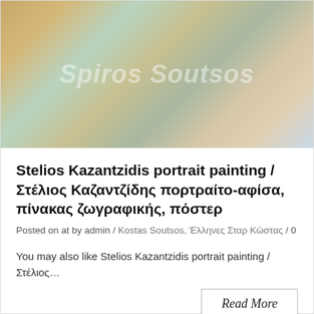[Figure (illustration): A colorful painting/illustration featuring warm tones of gold, brown, green, and blue-grey. A watermark text 'Spiros Soutsos' is overlaid in semi-transparent white italic letters across the center of the image.]
Stelios Kazantzidis portrait painting / Στέλιος Καζαντζίδης πορτραίτο-αφίσα, πίνακας ζωγραφικής, πόστερ
Posted on at by admin / Kostas Soutsos, Έλληνες Σταρ Κώστας / 0
You may also like Stelios Kazantzidis portrait painting / Στέλιος…
Read More